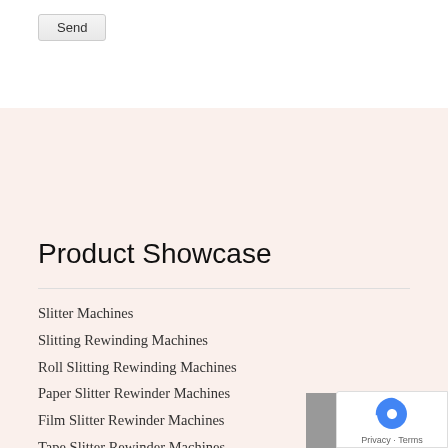Send
Product Showcase
Slitter Machines
Slitting Rewinding Machines
Roll Slitting Rewinding Machines
Paper Slitter Rewinder Machines
Film Slitter Rewinder Machines
Tape Slitter Rewinder Machines
Foil Slitting Rewinding Machines
Fabric Slitter Rewinder Machines
Drum Type Slitting Rewinding
Flexible Packaging Films Slitter Rewinder Machine
Rubber Roller